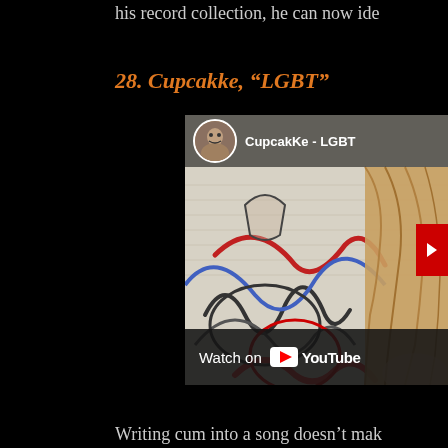his record collection, he can now ide
28. Cupcakke, “LGBT”
[Figure (screenshot): Embedded YouTube video thumbnail for CupcakKe - LGBT, showing graffiti artwork on paper with a woman's hair visible on the right side. Includes YouTube channel avatar, video title 'CupcakKe - LGBT', and a 'Watch on YouTube' bar at the bottom.]
Writing cum into a song doesn’t mak